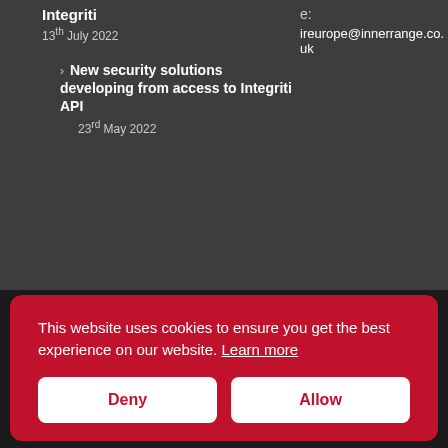Integriti
13th July 2022
e:
ireurope@innerrange.co.uk
New security solutions developing from access to Integriti API
23rd May 2022
This website uses cookies to ensure you get the best experience on our website. Learn more
Deny
Allow
ights